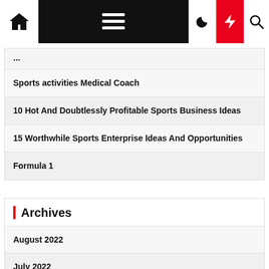Navigation bar with home, menu, moon, bolt, and search icons
Sports activities Medical Coach
10 Hot And Doubtlessly Profitable Sports Business Ideas
15 Worthwhile Sports Enterprise Ideas And Opportunities
Formula 1
Archives
August 2022
July 2022